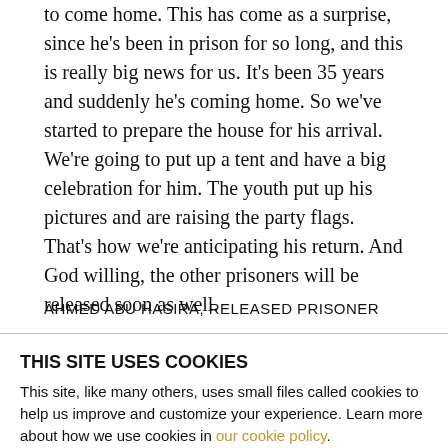to come home. This has come as a surprise, since he's been in prison for so long, and this is really big news for us. It's been 35 years and suddenly he's coming home. So we've started to prepare the house for his arrival. We're going to put up a tent and have a big celebration for him. The youth put up his pictures and are raising the party flags. That's how we're anticipating his return. And God willing, the other prisoners will be released soon as well.
AHMED ABU HASIRA, RELEASED PRISONER
THIS SITE USES COOKIES
This site, like many others, uses small files called cookies to help us improve and customize your experience. Learn more about how we use cookies in our cookie policy.